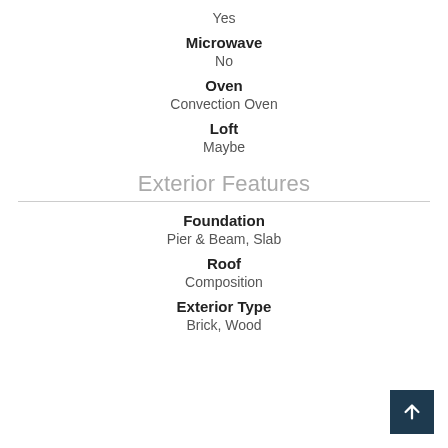Yes
Microwave
No
Oven
Convection Oven
Loft
Maybe
Exterior Features
Foundation
Pier & Beam, Slab
Roof
Composition
Exterior Type
Brick, Wood